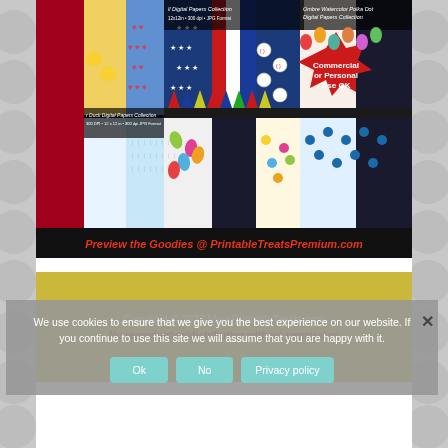[Figure (photo): Collage of colorful digital papers collections showing various patterns (polka dots, stripes, stars, chevron, rubber ducks, balloons, etc.) with a red starburst badge reading 'Commercial or Personal Use OK' and a black banner at the bottom reading 'Preview the Goodies @ PrintableTreatsPremium.com' in red italic text.]
Copyright © 2022 MorePrintableTreats.com
No reproduction/distribution without permission
We use cookies to ensure that we give you the best experience on our website. If you continue to use this site we will assume that you are happy with it.